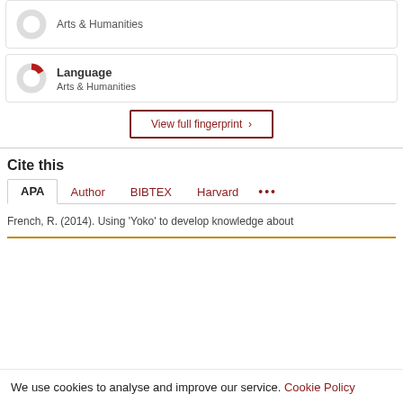[Figure (donut-chart): Partial donut chart icon with red slice, gray background, representing 'Arts & Humanities' category]
Language
Arts & Humanities
View full fingerprint ›
Cite this
APA  Author  BIBTEX  Harvard  •••
French, R. (2014). Using 'Yoko' to develop knowledge about
We use cookies to analyse and improve our service. Cookie Policy